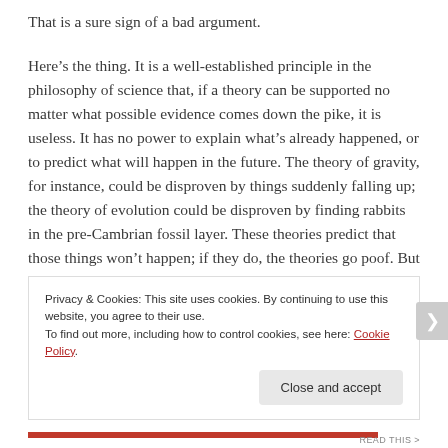That is a sure sign of a bad argument.
Here’s the thing. It is a well-established principle in the philosophy of science that, if a theory can be supported no matter what possible evidence comes down the pike, it is useless. It has no power to explain what’s already happened, or to predict what will happen in the future. The theory of gravity, for instance, could be disproven by things suddenly falling up; the theory of evolution could be disproven by finding rabbits in the pre-Cambrian fossil layer. These theories predict that those things won’t happen; if they do, the theories go poof. But if your theory of God’s existence holds up no matter what happens — whether
Privacy & Cookies: This site uses cookies. By continuing to use this website, you agree to their use.
To find out more, including how to control cookies, see here: Cookie Policy